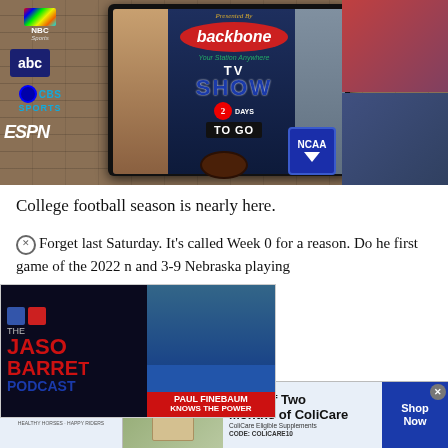[Figure (screenshot): TV show promotional banner with NBC Sports, ABC, CBS Sports, ESPN logos on brick wall background. Center shows a TV screen with 'backbone - Your Station Anywhere' TV SHOW, '2 DAYS TO GO'. NCAA logo bottom right. Football players and coach visible.]
College football season is nearly here.
Forget last Saturday. It's called Week 0 for a reason. Do he first game of the 2022 n and 3-9 Nebraska playing
[Figure (screenshot): The Jason Barrett Podcast advertisement overlay]
[Figure (screenshot): SmartPak advertisement: 50% Off Two Months of ColiCare, ColiCare Eligible Supplements, CODE: COLICARE10, Shop Now button]